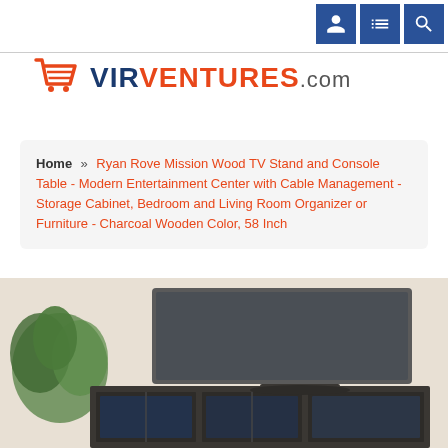Navigation icons: user, menu, search
[Figure (logo): VirVentures.com logo with shopping cart icon in orange and dark blue text]
Home » Ryan Rove Mission Wood TV Stand and Console Table - Modern Entertainment Center with Cable Management - Storage Cabinet, Bedroom and Living Room Organizer or Furniture - Charcoal Wooden Color, 58 Inch
[Figure (photo): Photo of a large flat screen TV mounted on a dark charcoal wooden TV stand/console with storage shelves, a plant visible on the left side, against a light beige wall]